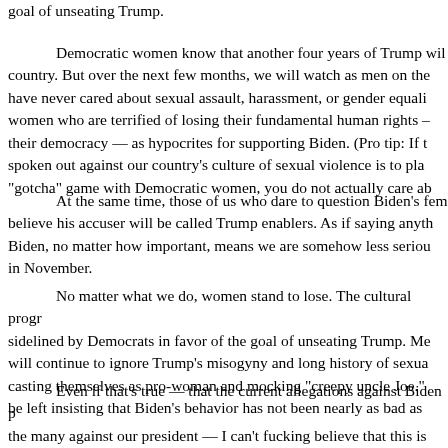The cultural progress of #MeToo will be sidelined by Democrats in favor of the goal of unseating Trump.
Democratic women know that another four years of Trump will destroy our country. But over the next few months, we will watch as men on the right who have never cared about sexual assault, harassment, or gender equality frame women who are terrified of losing their fundamental human rights — including their democracy — as hypocrites for supporting Biden. (Pro tip: If the goal of spoken out against our country's culture of sexual violence is to play a "gotcha" game with Democratic women, you do not actually care ab...
At the same time, those of us who dare to question Biden's fem... believe his accuser will be called Trump enablers. As if saying anyth... Biden, no matter how important, means we are somehow less serious... in November.
No matter what we do, women stand to lose. The cultural progr... sidelined by Democrats in favor of the goal of unseating Trump. Me... will continue to ignore Trump's misogyny and long history of sexua... casting themselves as pro-woman and mocking "creepy uncle Joe."... be left insisting that Biden's behavior has not been nearly as bad as...
Even if that's true — that the current allegations against Biden p... the many against our president — I can't fucking believe that this is... After a primary season that featured more strong female presidentia... in history, women will get a general election season of watching sex... political cudgel by those who don't actually care about women at a...